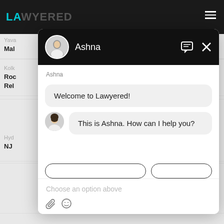[Figure (screenshot): Screenshot of Lawyered website showing a chat overlay with an AI assistant named Ashna. The background shows the Lawyered website header with teal logo and dark navigation bar. A chat popup is open showing a welcome message 'Welcome to Lawyered!' and 'This is Ashna. How can I help you?' with avatar images, response buttons, and an input field with 'Choose an option above' placeholder text.]